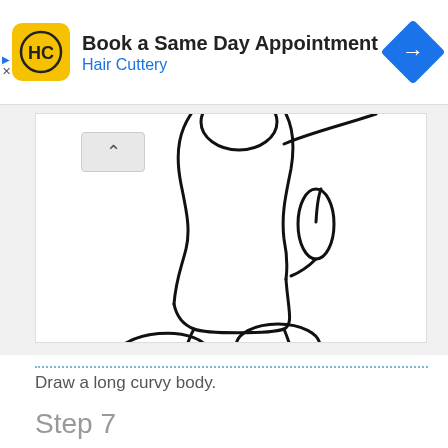[Figure (screenshot): Hair Cuttery advertisement banner with yellow HC logo icon, text 'Book a Same Day Appointment' and 'Hair Cuttery' in blue, and a blue diamond-shaped navigation arrow icon on the right. Small ad marker with triangle and X on the left.]
[Figure (illustration): A hand-drawn sketch showing the lower body of a cartoon character (likely Mickey Mouse style) with two rounded feet/shoes, legs, and partial torso/body outline drawn in black marker on white background.]
Draw a long curvy body.
Step 7